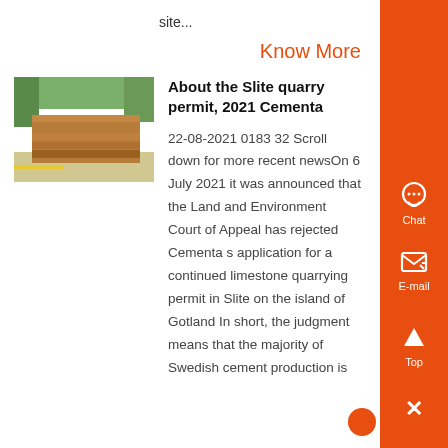site...
Know More
[Figure (photo): Stack of wooden planks or lumber on a pallet outdoors, with trees in the background]
About the Slite quarry permit, 2021 Cementa
22-08-2021 0183 32 Scroll down for more recent newsOn 6 July 2021 it was announced that the Land and Environment Court of Appeal has rejected Cementa s application for a continued limestone quarrying permit in Slite on the island of Gotland In short, the judgment means that the majority of Swedish cement production is